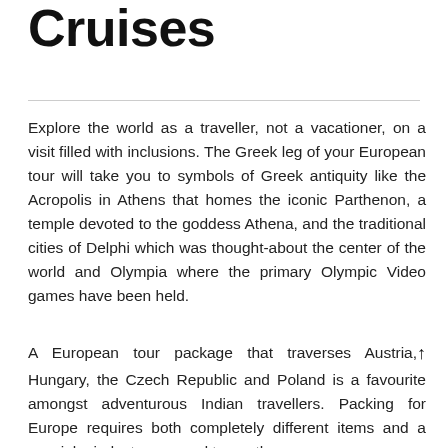Cruises
Explore the world as a traveller, not a vacationer, on a visit filled with inclusions. The Greek leg of your European tour will take you to symbols of Greek antiquity like the Acropolis in Athens that homes the iconic Parthenon, a temple devoted to the goddess Athena, and the traditional cities of Delphi which was thought-about the center of the world and Olympia where the primary Olympic Video games have been held.
A European tour package that traverses Austria, Hungary, the Czech Republic and Poland is a favourite amongst adventurous Indian travellers. Packing for Europe requires both completely different items and a special mindset compared to another